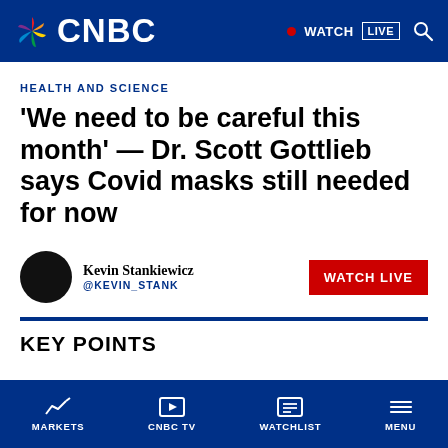CNBC — WATCH LIVE
HEALTH AND SCIENCE
'We need to be careful this month' — Dr. Scott Gottlieb says Covid masks still needed for now
Kevin Stankiewicz @KEVIN_STANK
MARKETS  CNBC TV  WATCHLIST  MENU
KEY POINTS